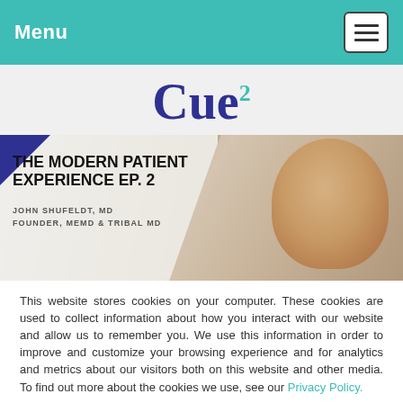Menu
Cue²
[Figure (photo): Banner image for 'The Modern Patient Experience Ep. 2' featuring John Shufeldt, MD, Founder of MeMD & Tribal MD. Shows a smiling middle-aged man with a teal/blue overlay and decorative geometric elements.]
This website stores cookies on your computer. These cookies are used to collect information about how you interact with our website and allow us to remember you. We use this information in order to improve and customize your browsing experience and for analytics and metrics about our visitors both on this website and other media. To find out more about the cookies we use, see our Privacy Policy.
Accept